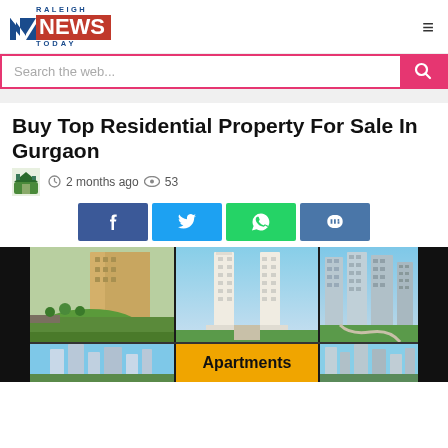Raleigh News Today
Search the web...
Buy Top Residential Property For Sale In Gurgaon
2 months ago  53
[Figure (screenshot): Social share buttons: Facebook, Twitter, WhatsApp, VK]
[Figure (photo): Collage of residential property images in Gurgaon, including apartment buildings, towers, and a second row with 'Apartments' label on orange background]